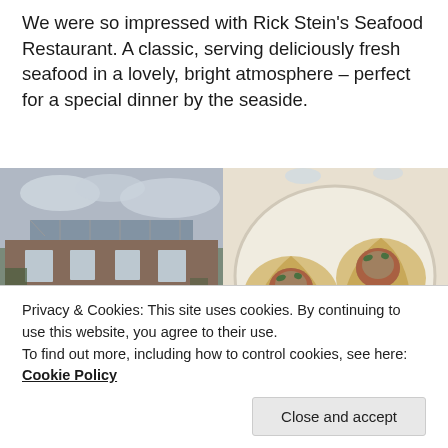We were so impressed with Rick Stein's Seafood Restaurant. A classic, serving deliciously fresh seafood in a lovely, bright atmosphere – perfect for a special dinner by the seaside.
[Figure (photo): Exterior of Rick Stein's Seafood Restaurant – a stone building with ivy and glass rooftop extension under cloudy sky]
[Figure (photo): Plate of scallops served in their shells with tomato sauce and herb topping on a white plate]
Privacy & Cookies: This site uses cookies. By continuing to use this website, you agree to their use.
To find out more, including how to control cookies, see here: Cookie Policy